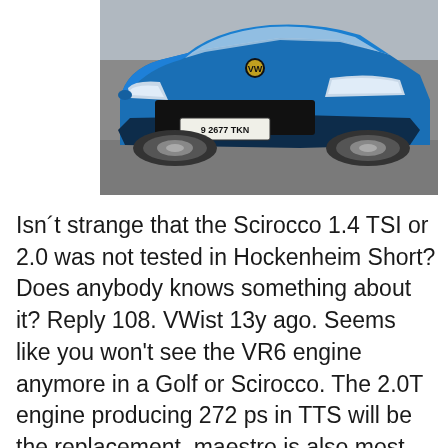[Figure (photo): A blue Volkswagen Scirocco R photographed from the front-left angle in a parking area. The car has a license plate reading '9 2677 TKN'.]
Isn´t strange that the Scirocco 1.4 TSI or 2.0 was not tested in Hockenheim Short?Does anybody knows something about it? Reply 108. VWist 13y ago. Seems like you won't see the VR6 engine anymore in a Golf or Scirocco. The 2.0T engine producing 272 ps in TTS will be the replacement. maestro is also most likely very correct, the soon to be Read more: 2015 Scirocco R